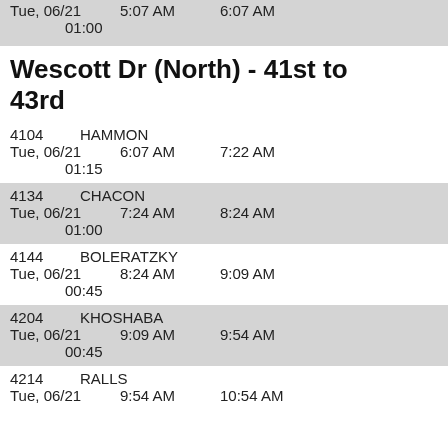| ID | Name | Date | Start | End | Duration |
| --- | --- | --- | --- | --- | --- |
|  |  | Tue, 06/21 | 5:07 AM | 6:07 AM | 01:00 |
| 4104 | HAMMON | Tue, 06/21 | 6:07 AM | 7:22 AM | 01:15 |
| 4134 | CHACON | Tue, 06/21 | 7:24 AM | 8:24 AM | 01:00 |
| 4144 | BOLERATZKY | Tue, 06/21 | 8:24 AM | 9:09 AM | 00:45 |
| 4204 | KHOSHABA | Tue, 06/21 | 9:09 AM | 9:54 AM | 00:45 |
| 4214 | RALLS | Tue, 06/21 | 9:54 AM | 10:54 AM |  |
Wescott Dr (North) - 41st to 43rd